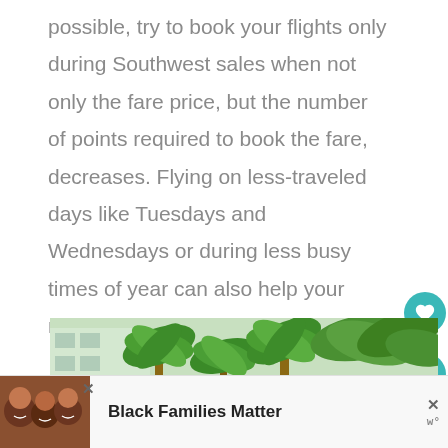possible, try to book your flights only during Southwest sales when not only the fare price, but the number of points required to book the fare, decreases. Flying on less-traveled days like Tuesdays and Wednesdays or during less busy times of year can also help your miles stretch as far as possible.
[Figure (photo): Tropical scene with palm trees and a building, partially visible. Below it is an advertisement banner reading 'Black Families Matter' with a photo of smiling family.]